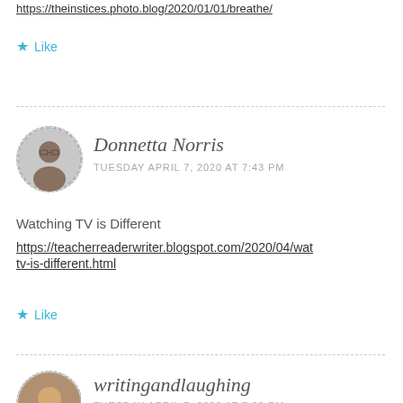https://theinstices.photo.blog/2020/01/01/breathe/
★ Like
[Figure (photo): Avatar photo of Donnetta Norris, a person with glasses, circular cropped with dashed border]
Donnetta Norris
TUESDAY APRIL 7, 2020 AT 7:43 PM
Watching TV is Different
https://teacherreaderwriter.blogspot.com/2020/04/watching-tv-is-different.html
★ Like
[Figure (photo): Avatar photo of writingandlaughing, partially visible circular cropped photo]
writingandlaughing
TUESDAY APRIL 7, 2020 AT 7:33 PM